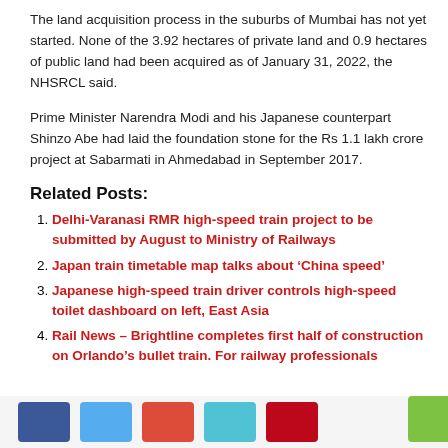The land acquisition process in the suburbs of Mumbai has not yet started. None of the 3.92 hectares of private land and 0.9 hectares of public land had been acquired as of January 31, 2022, the NHSRCL said.
Prime Minister Narendra Modi and his Japanese counterpart Shinzo Abe had laid the foundation stone for the Rs 1.1 lakh crore project at Sabarmati in Ahmedabad in September 2017.
Related Posts:
Delhi-Varanasi RMR high-speed train project to be submitted by August to Ministry of Railways
Japan train timetable map talks about ‘China speed’
Japanese high-speed train driver controls high-speed toilet dashboard on left, East Asia
Rail News – Brightline completes first half of construction on Orlando’s bullet train. For railway professionals
Social share buttons